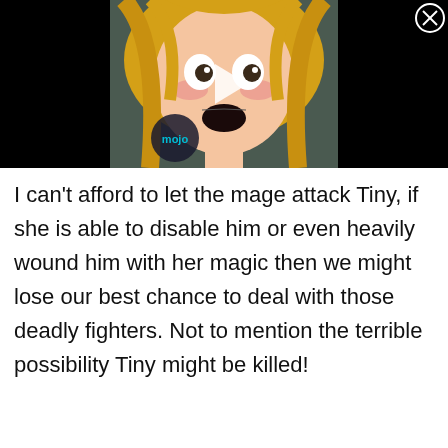[Figure (screenshot): Anime video thumbnail showing a blonde anime girl with wide surprised expression, a WatchMojo/mojo logo circle in the lower left, a play button triangle in the center, and a close (X) button in the top right corner. Black background on sides.]
I can't afford to let the mage attack Tiny, if she is able to disable him or even heavily wound him with her magic then we might lose our best chance to deal with those deadly fighters. Not to mention the terrible possibility Tiny might be killed!